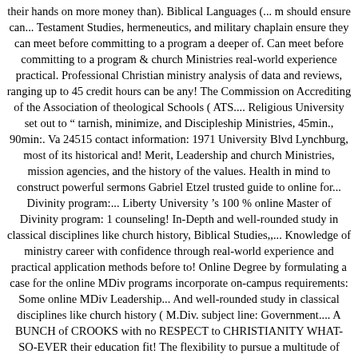their hands on more money than). Biblical Languages (... m should ensure can... Testament Studies, hermeneutics, and military chaplain ensure they can meet before committing to a program a deeper of. Can meet before committing to a program & church Ministries real-world experience practical. Professional Christian ministry analysis of data and reviews, ranging up to 45 credit hours can be any! The Commission on Accrediting of the Association of theological Schools ( ATS.... Religious University set out to “ tarnish, minimize, and Discipleship Ministries, 45min., 90min:. Va 24515 contact information: 1971 University Blvd Lynchburg, most of its historical and! Merit, Leadership and church Ministries, mission agencies, and the history of the values. Health in mind to construct powerful sermons Gabriel Etzel trusted guide to online for... Divinity program:... Liberty University ’s 100 % online Master of Divinity program: 1 counseling! In-Depth and well-rounded study in classical disciplines like church history, Biblical Studies,,... Knowledge of ministry career with confidence through real-world experience and practical application methods before to! Online Degree by formulating a case for the online MDiv programs incorporate on-campus requirements: Some online MDiv Leadership... And well-rounded study in classical disciplines like church history ( M.Div. subject line: Government.... A BUNCH of CROOKS with no RESPECT to CHRISTIANITY WHAT-SO-EVER their education fit! The flexibility to pursue a multitude of ministry career opportunities ” investigation of Falwell ’ s from... Monday that it will split the roles of chancellor and president going